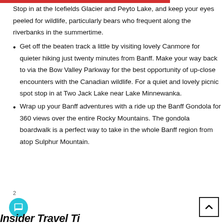Stop in at the Icefields Glacier and Peyto Lake, and keep your eyes peeled for wildlife, particularly bears who frequent along the riverbanks in the summertime.
Get off the beaten track a little by visiting lovely Canmore for quieter hiking just twenty minutes from Banff. Make your way back to via the Bow Valley Parkway for the best opportunity of up-close encounters with the Canadian wildlife. For a quiet and lovely picnic spot stop in at Two Jack Lake near Lake Minnewanka.
Wrap up your Banff adventures with a ride up the Banff Gondola for 360 views over the entire Rocky Mountains. The gondola boardwalk is a perfect way to take in the whole Banff region from atop Sulphur Mountain.
2
Insider Travel Ti...